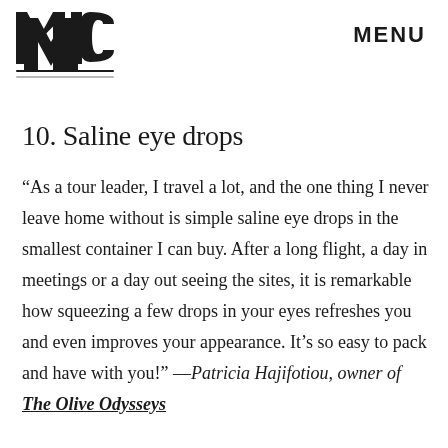MIC  MENU
10. Saline eye drops
“As a tour leader, I travel a lot, and the one thing I never leave home without is simple saline eye drops in the smallest container I can buy. After a long flight, a day in meetings or a day out seeing the sites, it is remarkable how squeezing a few drops in your eyes refreshes you and even improves your appearance. It’s so easy to pack and have with you!” —Patricia Hajifotiou, owner of The Olive Odysseys